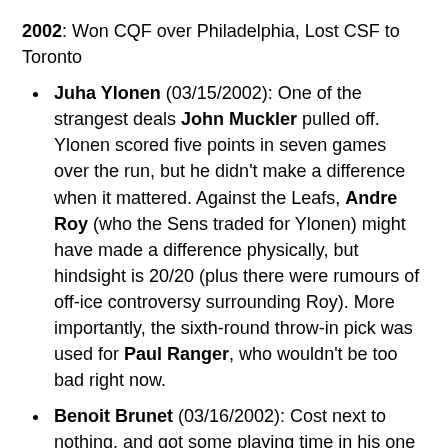2002: Won CQF over Philadelphia, Lost CSF to Toronto
Juha Ylonen (03/15/2002): One of the strangest deals John Muckler pulled off. Ylonen scored five points in seven games over the run, but he didn't make a difference when it mattered. Against the Leafs, Andre Roy (who the Sens traded for Ylonen) might have made a difference physically, but hindsight is 20/20 (plus there were rumours of off-ice controversy surrounding Roy). More importantly, the sixth-round throw-in pick was used for Paul Ranger, who wouldn't be too bad right now.
Benoit Brunet (03/16/2002): Cost next to nothing, and got some playing time in his one season. Nothing wrong with that.